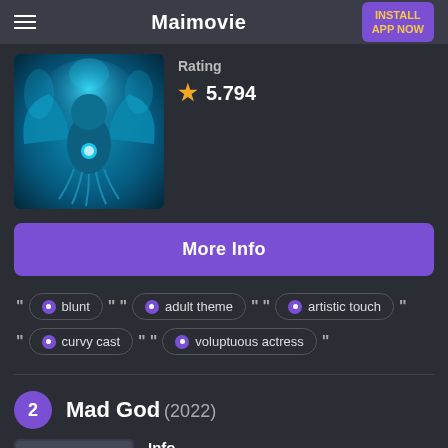Maimovie
Rating 5.794
[Figure (illustration): Movie poster with blue glowing fantasy character with wings spread wide against a dark background]
More Info
blunt
adult theme
artistic touch
curvy cast
voluptuous actress
Mad God (2022)
Info
2022-06-16 | Animation | Fantasy